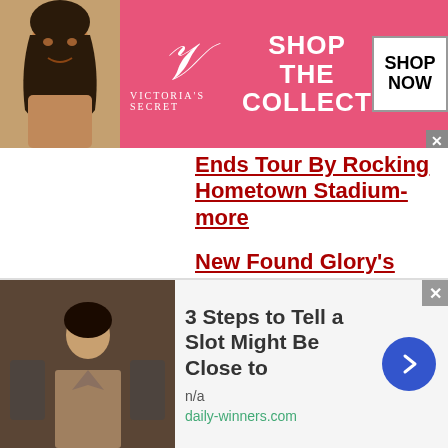[Figure (screenshot): Victoria's Secret advertisement banner with model, VS logo, 'SHOP THE COLLECTION' text, and 'SHOP NOW' button]
Ends Tour By Rocking Hometown Stadium-more
New Found Glory's Chad Gilbert Having Surgery For
[Figure (screenshot): Bottom advertisement: '3 Steps to Tell a Slot Might Be Close to' with image, n/a, daily-winners.com, and blue arrow button]